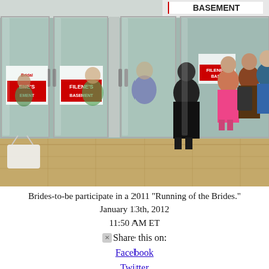[Figure (photo): People crowding into Filene's Basement store entrance through glass doors. Filene's Basement signage visible on storefront. A person in black coat stands near the door as a crowd of shoppers pushes through.]
Brides-to-be participate in a 2011 "Running of the Brides."
January 13th, 2012
11:50 AM ET
⊗Share this on:
Facebook
Twitter
Digg